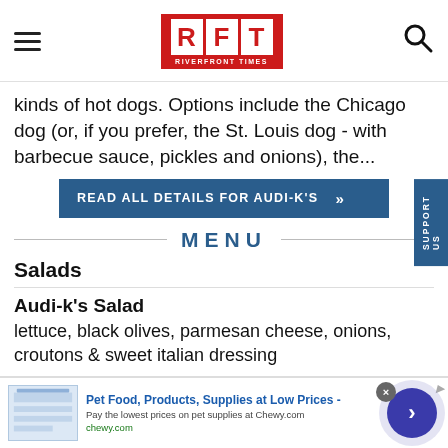RFT RIVERFRONT TIMES
kinds of hot dogs. Options include the Chicago dog (or, if you prefer, the St. Louis dog - with barbecue sauce, pickles and onions), the...
READ ALL DETAILS FOR AUDI-K'S »
MENU
Salads
Audi-k's Salad
lettuce, black olives, parmesan cheese, onions, croutons & sweet italian dressing
[Figure (screenshot): Advertisement banner for Chewy.com: Pet Food, Products, Supplies at Low Prices - Pay the lowest prices on pet supplies at Chewy.com]